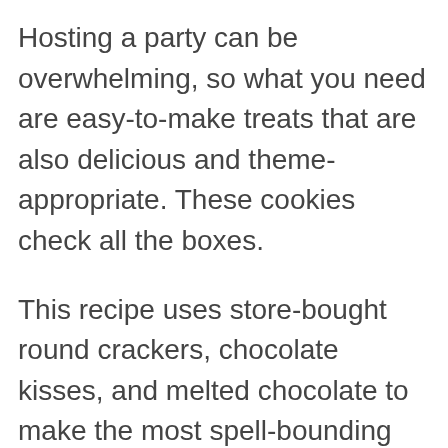Hosting a party can be overwhelming, so what you need are easy-to-make treats that are also delicious and theme-appropriate. These cookies check all the boxes.
This recipe uses store-bought round crackers, chocolate kisses, and melted chocolate to make the most spell-bounding cookies. No baking required.
And my, look how breathtaking they are! Every Potterhead would love to have